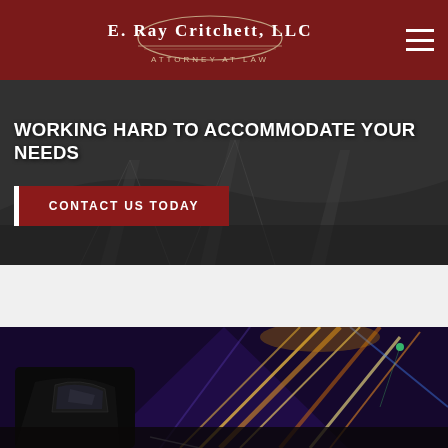E. Ray Critchett, LLC – Attorney at Law
WORKING HARD TO ACCOMMODATE YOUR NEEDS
CONTACT US TODAY
[Figure (photo): Car side mirror with motion-blurred tunnel lights in background, night driving scene]